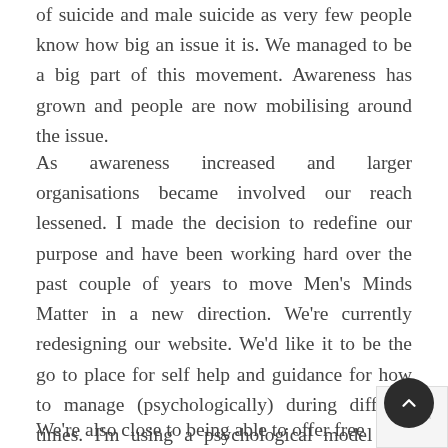of suicide and male suicide as very few people know how big an issue it is. We managed to be a big part of this movement. Awareness has grown and people are now mobilising around the issue.
As awareness increased and larger organisations became involved our reach lessened. I made the decision to redefine our purpose and have been working hard over the past couple of years to move Men's Minds Matter in a new direction. We're currently redesigning our website. We'd like it to be the go to place for self help and guidance for how to manage (psychologically) during difficult times. I'm using a psychological model I've developed from my work with the HTT to shape our content.
We're also close to being able to offer free